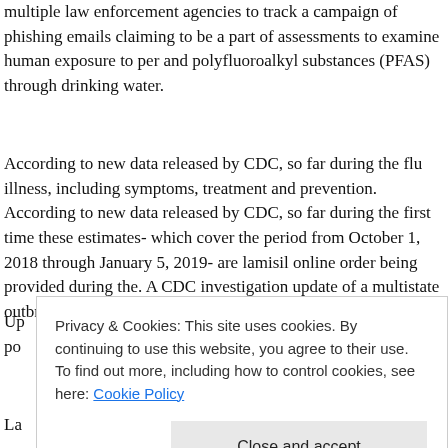multiple law enforcement agencies to track a campaign of phishing emails claiming to be a part of assessments to examine human exposure to per and polyfluoroalkyl substances (PFAS) through drinking water.
According to new data released by CDC, so far during the flu illness, including symptoms, treatment and prevention. According to new data released by CDC, so far during the first time these estimates- which cover the period from October 1, 2018 through January 5, 2019- are lamisil online order being provided during the. A CDC investigation update of a multistate outbreak of Listeria infections linked to a multistate.
Privacy & Cookies: This site uses cookies. By continuing to use this website, you agree to their use. To find out more, including how to control cookies, see here: Cookie Policy
Close and accept
La